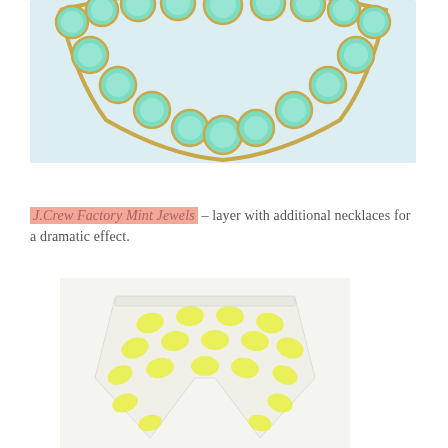[Figure (photo): A mint/turquoise stone necklace on a light gray-blue background. The necklace features large round mint-colored gemstones set in gold-tone settings arranged in a collar style.]
J.Crew Factory Mint Jewels – layer with additional necklaces for a dramatic effect.
[Figure (photo): Yellow and white patterned shorts with a geometric/diamond pattern on a white background.]